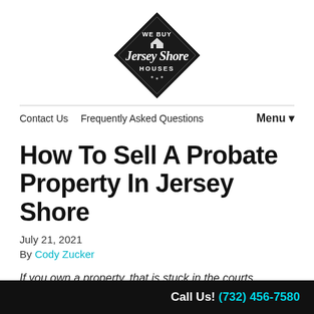[Figure (logo): We Buy Jersey Shore Houses diamond-shaped logo in dark/black with white text]
Contact Us   Frequently Asked Questions   Menu ▼
How To Sell A Probate Property In Jersey Shore
July 21, 2021
By Cody Zucker
If you own a property, that is stuck in the courts, it can feel frustrating and overwhelming. All of
Call Us! (732) 456-7580